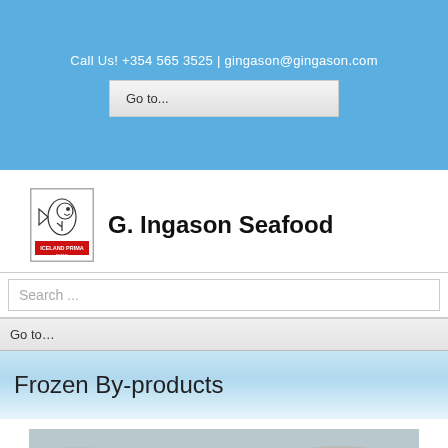Call Us! +354 565 3525 | gingason@gingason.com
Go to...
[Figure (logo): G. Ingason Seafood logo with cartoon fish character and ICELAND PRIMA brand text]
G. Ingason Seafood
Search ...
Go to...
Frozen By-products
[Figure (photo): Close-up photo of frozen fish fillets/by-products, bluish-grey tones]